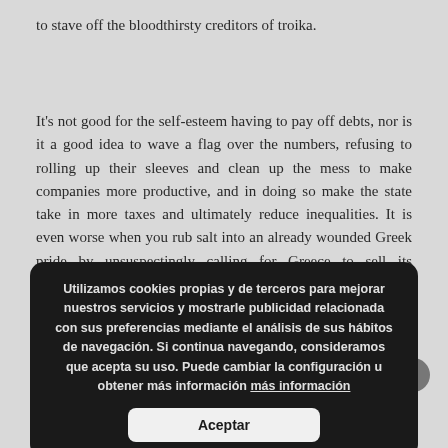to stave off the bloodthirsty creditors of troika.
It's not good for the self-esteem having to pay off debts, nor is it a good idea to wave a flag over the numbers, refusing to rolling up their sleeves and clean up the mess to make companies more productive, and in doing so make the state take in more taxes and ultimately reduce inequalities. It is even worse when you rub salt into an already wounded Greek pride by unsuspectingly calling for Greece to sell its patrimony to pay its debts, including the Parthenon itself...
Utilizamos cookies propias y de terceros para mejorar nuestros servicios y mostrarle publicidad relacionada con sus preferencias mediante el análisis de sus hábitos de navegación. Si continua navegando, consideramos que acepta su uso. Puede cambiar la configuración u obtener más información más información
Aceptar
With the... work out... Euro and its subsequent to p... capital market, is there anything...? What lessons c... draw on for the future? Will a country like Greece, wi...